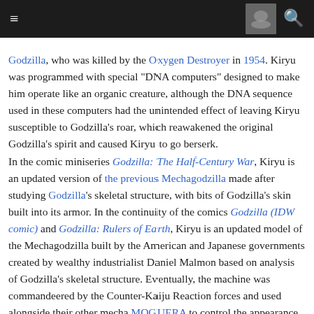[navigation bar with hamburger menu and search icon]
Godzilla, who was killed by the Oxygen Destroyer in 1954. Kiryu was programmed with special "DNA computers" designed to make him operate like an organic creature, although the DNA sequence used in these computers had the unintended effect of leaving Kiryu susceptible to Godzilla's roar, which reawakened the original Godzilla's spirit and caused Kiryu to go berserk.
In the comic miniseries Godzilla: The Half-Century War, Kiryu is an updated version of the previous Mechagodzilla made after studying Godzilla's skeletal structure, with bits of Godzilla's skin built into its armor. In the continuity of the comics Godzilla (IDW comic) and Godzilla: Rulers of Earth, Kiryu is an updated model of the Mechagodzilla built by the American and Japanese governments created by wealthy industrialist Daniel Malmon based on analysis of Godzilla's skeletal structure. Eventually, the machine was commandeered by the Counter-Kaiju Reaction forces and used alongside their other mecha MOGUERA to control the appearance of kaiju around the world. In the comic miniseries Godzilla: Oblivion, there is an army of small mass-produced Mechagodzillas that bear the appearance of Kiryu.
History [ edit | edit source ]